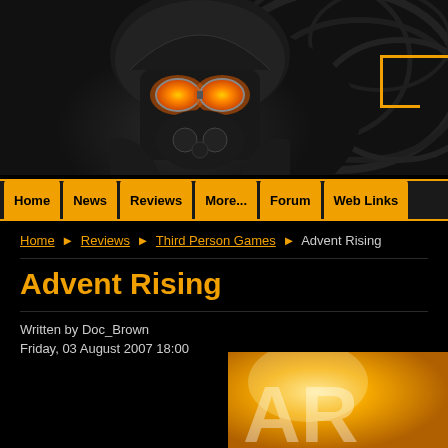[Figure (screenshot): Dark header banner showing a soldier/character with glowing orange goggle eyes wearing a helmet and gas mask, against a dark patterned background. Orange UI corner element visible top right.]
Home | News | Reviews | More... | Forum | Web Links
Home › Reviews › Third Person Games › Advent Rising
Advent Rising
Written by Doc_Brown
Friday, 03 August 2007 18:00
[Figure (illustration): Partial golden/yellow illustration visible at bottom right, showing 'AR' letters partially visible]